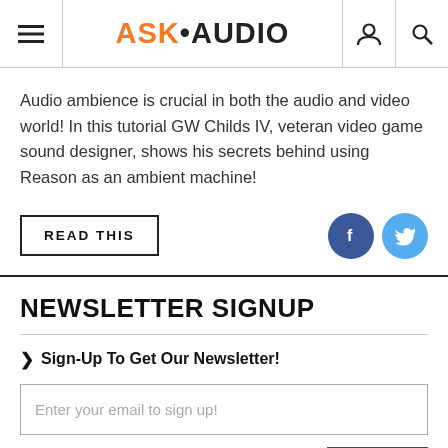ASK·AUDIO
Audio ambience is crucial in both the audio and video world! In this tutorial GW Childs IV, veteran video game sound designer, shows his secrets behind using Reason as an ambient machine!
READ THIS
NEWSLETTER SIGNUP
➤ Sign-Up To Get Our Newsletter!
Enter your email to sign up!
Yes, Please send me your newsletter.